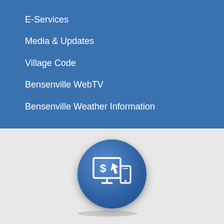E-Services
Media & Updates
Village Code
Bensenville WebTV
Bensenville Weather Information
[Figure (illustration): Circular blue button icon showing a desktop monitor and mobile phone with a dollar sign and cursor arrow, representing online payments]
Online Payments